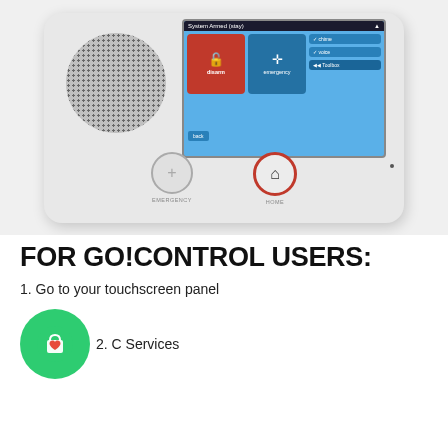[Figure (photo): Go!Control touchscreen security panel device showing the screen with System Armed (stay) display, disarm and emergency buttons, speaker grille, and two hardware buttons (EMERGENCY and HOME) at the bottom.]
FOR GO!CONTROL USERS:
1. Go to your touchscreen panel
2. C[icon]Services